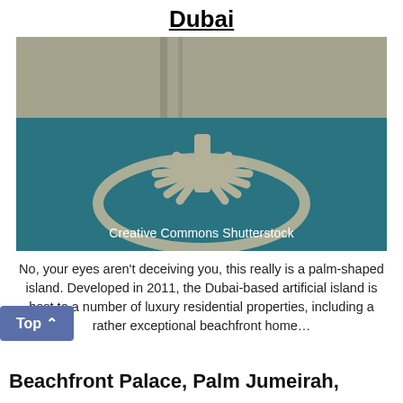Dubai
[Figure (photo): Aerial photograph of Palm Jumeirah, the palm-shaped artificial island in Dubai, showing the palm frond layout surrounded by a circular breakwater, with the coastline visible in the background. Watermark reads: Creative Commons Shutterstock]
Creative Commons Shutterstock
No, your eyes aren't deceiving you, this really is a palm-shaped island. Developed in 2011, the Dubai-based artificial island is host to a number of luxury residential properties, including a rather exceptional beachfront home…
Beachfront Palace, Palm Jumeirah,